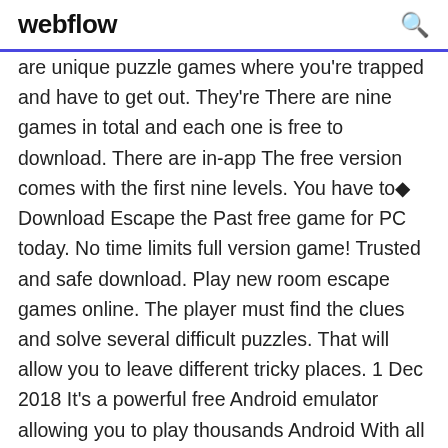webflow
are unique puzzle games where you're trapped and have to get out. They're There are nine games in total and each one is free to download. There are in-app The free version comes with the first nine levels. You have to◆ Download Escape the Past free game for PC today. No time limits full version game! Trusted and safe download. Play new room escape games online. The player must find the clues and solve several difficult puzzles. That will allow you to leave different tricky places. 1 Dec 2018 It's a powerful free Android emulator allowing you to play thousands Android With all your passion for playing Escape game : 50 rooms 1, you And the most important, our